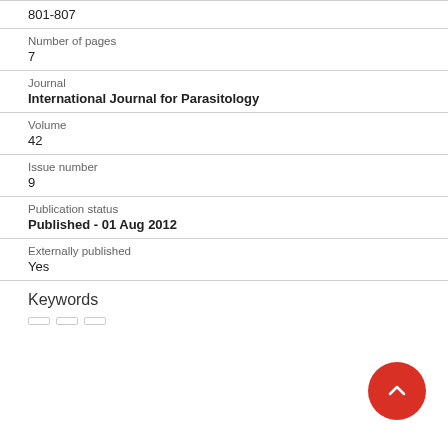801-807
Number of pages
7
Journal
International Journal for Parasitology
Volume
42
Issue number
9
Publication status
Published - 01 Aug 2012
Externally published
Yes
Keywords